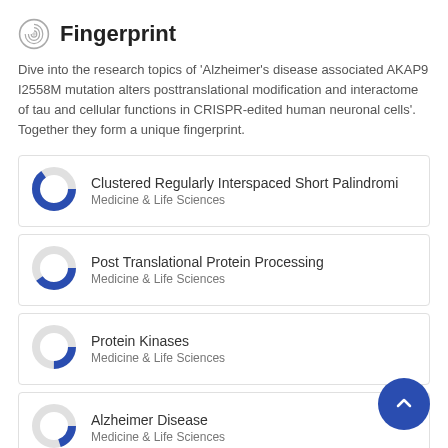Fingerprint
Dive into the research topics of 'Alzheimer's disease associated AKAP9 I2558M mutation alters posttranslational modification and interactome of tau and cellular functions in CRISPR-edited human neuronal cells'. Together they form a unique fingerprint.
Clustered Regularly Interspaced Short Palindromi | Medicine & Life Sciences
Post Translational Protein Processing | Medicine & Life Sciences
Protein Kinases | Medicine & Life Sciences
Alzheimer Disease | Medicine & Life Sciences